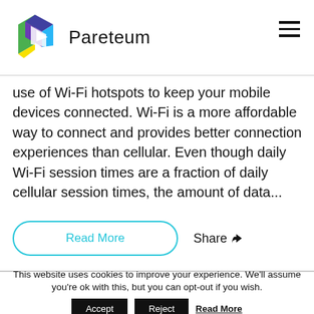Pareteum
use of Wi-Fi hotspots to keep your mobile devices connected. Wi-Fi is a more affordable way to connect and provides better connection experiences than cellular. Even though daily Wi-Fi session times are a fraction of daily cellular session times, the amount of data...
Read More
Share
This website uses cookies to improve your experience. We'll assume you're ok with this, but you can opt-out if you wish.
Accept
Reject
Read More